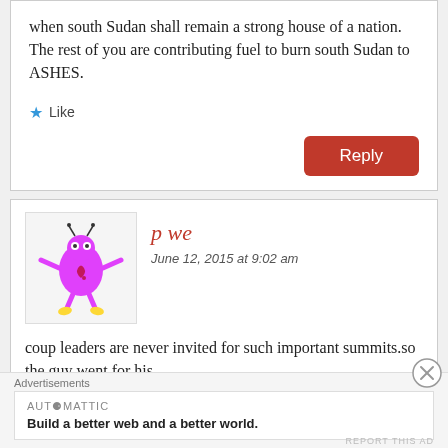when south Sudan shall remain a strong house of a nation. The rest of you are contributing fuel to burn south Sudan to ASHES.
★ Like
Reply
p we
June 12, 2015 at 9:02 am
coup leaders are never invited for such important summits.so the guy went for his
Advertisements
AUTOMATTIC
Build a better web and a better world.